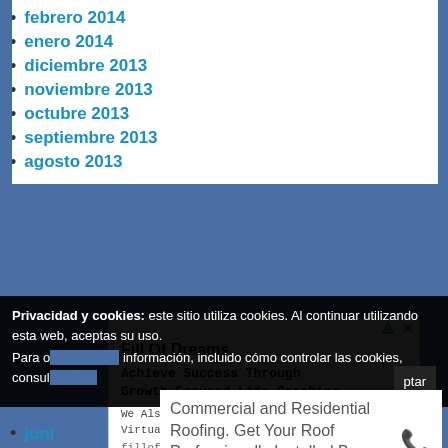febrero 2014
enero 2014
diciembre 2013
noviembre 2013
octubre 2013
septiembre 2013
agosto 2013
[Figure (other): Advertisement: Fill Of Dreams - Achieve Success Through Growth-Focused Life Coaching. We Also Provide You with a Free Virtual Session. fillofdreams.com]
Privacidad y cookies: este sitio utiliza cookies. Al continuar utilizando esta web, aceptas su uso. Para o... información, incluido cómo controlar las cookies, consul...
[Figure (other): Advertisement: Commercial and Residential Roofing. Get Your Roof Professionally Installed By Our Experts.]
juni...